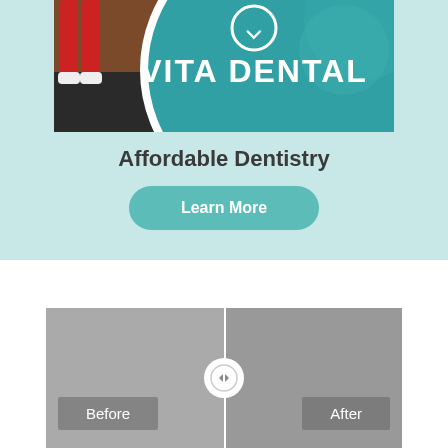[Figure (photo): Photo of a teal Vita Dental banner/sign on a wooden floor background with a person's red-clad legs visible]
Affordable Dentistry
Learn More
[Figure (photo): Before and after comparison slider with two gray placeholder panels labeled 'Before' on the left and 'After' on the right, separated by a vertical white line with a circular drag handle in the center]